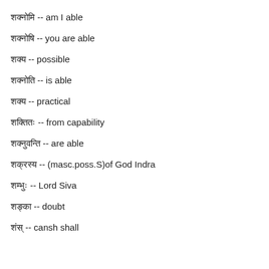शक्नोमि -- am I able
शक्नोषि -- you are able
शक्य -- possible
शक्नोति -- is able
शक्य -- practical
शक्तितः -- from capability
शक्नुवन्ति -- are able
शक्रस्य -- (masc.poss.S)of God Indra
शम्भुः -- Lord Siva
शङ्का -- doubt
शंस् -- cansh shall